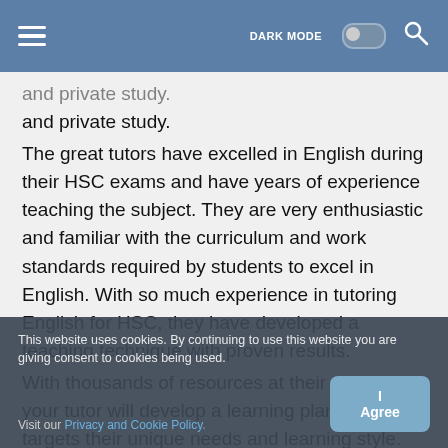DARK MODE [toggle] [search]
and private study.
The great tutors have excelled in English during their HSC exams and have years of experience teaching the subject. They are very enthusiastic and familiar with the curriculum and work standards required by students to excel in English. With so much experience in tutoring English for HSC, they have developed a teaching technique with proven results.
With thousands of resources at their disposal, your tutor will develop a learning plan that targets their unique needs and learning style.
By Tutors From The Top Fit Colleges in Australia
Source: pexels.com
This website uses cookies. By continuing to use this website you are giving consent to cookies being used. Visit our Privacy and Cookie Policy.